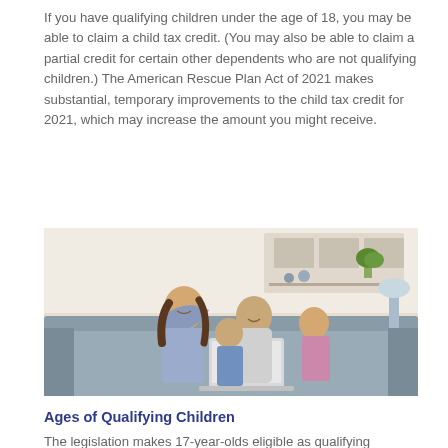If you have qualifying children under the age of 18, you may be able to claim a child tax credit. (You may also be able to claim a partial credit for certain other dependents who are not qualifying children.) The American Rescue Plan Act of 2021 makes substantial, temporary improvements to the child tax credit for 2021, which may increase the amount you might receive.
[Figure (photo): A family of four — a mother, father, and two children — sitting together on a sofa looking at a laptop computer in a bright living room setting.]
Ages of Qualifying Children
The legislation makes 17-year-olds eligible as qualifying children in 2021. Thus, children ages 17 and younger are eligible as qualifying children in